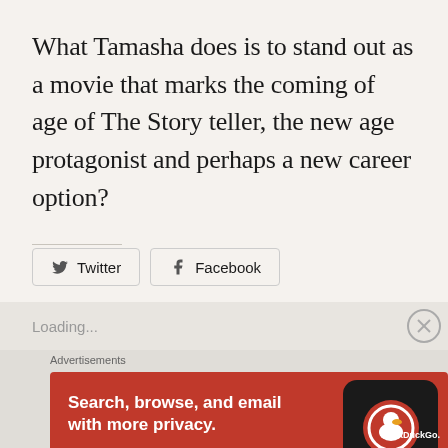What Tamasha does is to stand out as a movie that marks the coming of age of The Story teller, the new age protagonist and perhaps a new career option?
Share this:
[Figure (screenshot): Share buttons for Twitter and Facebook]
Loading...
[Figure (infographic): DuckDuckGo advertisement banner: Search, browse, and email with more privacy. All in One Free App. Shows phone mockup with DuckDuckGo logo.]